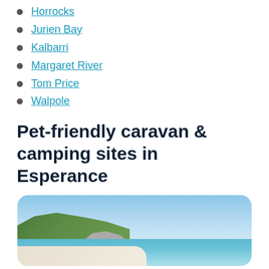Horrocks
Jurien Bay
Kalbarri
Margaret River
Tom Price
Walpole
Pet-friendly caravan & camping sites in Esperance
[Figure (photo): Coastal beach scene near Esperance showing rocky hillside with green vegetation, white sandy beach, turquoise water, and blue sky with clouds]
Located about 720 km southeast of Perth, Esperance is